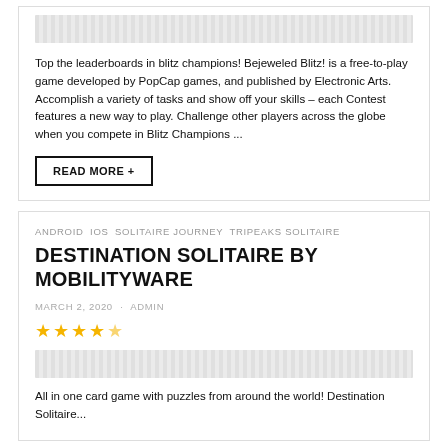[Figure (other): Placeholder image strip (hatched/dotted pattern) at top of first card]
Top the leaderboards in blitz champions! Bejeweled Blitz! is a free-to-play game developed by PopCap games, and published by Electronic Arts. Accomplish a variety of tasks and show off your skills – each Contest features a new way to play. Challenge other players across the globe when you compete in Blitz Champions ...
READ MORE +
ANDROID IOS SOLITAIRE JOURNEY TRIPEAKS SOLITAIRE
DESTINATION SOLITAIRE BY MOBILITYWARE
MARCH 2, 2020 · admin
[Figure (other): 4.5 star rating shown as filled yellow stars]
[Figure (other): Placeholder image strip (hatched/dotted pattern) below star rating]
All in one card game with puzzles from around the world! Destination Solitaire...